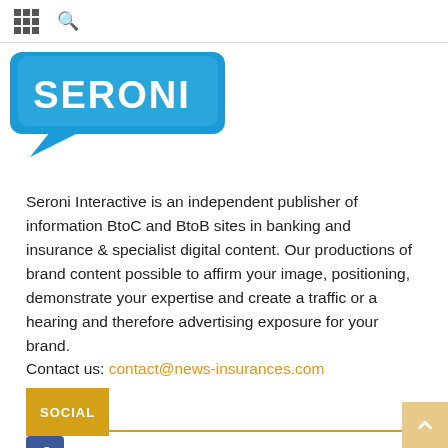navigation bar with grid menu and search icon
[Figure (logo): Seroni logo — speech bubble with blue background and white text 'SERONI']
Seroni Interactive is an independent publisher of information BtoC and BtoB sites in banking and insurance & specialist digital content. Our productions of brand content possible to affirm your image, positioning, demonstrate your expertise and create a traffic or a hearing and therefore advertising exposure for your brand.
Contact us: contact@news-insurances.com
SOCIAL
34 Fans
6 Subscribers